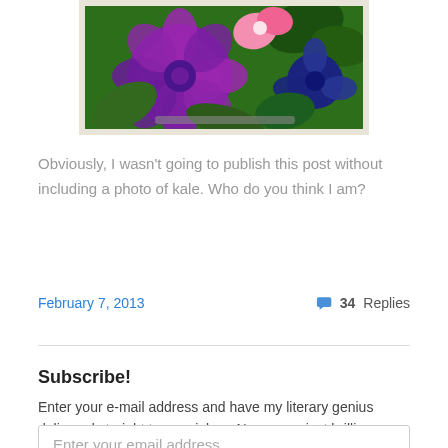[Figure (photo): Close-up photograph of colorful flowers including a large purple/magenta flower (possibly gloxinia or violet), pink flowers, and dark blue/purple flowers with green leaves, in a pot or arrangement.]
Obviously, I wasn't going to publish this post without including a photo of kale. Who do you think I am?
February 7, 2013     💬 34 Replies
Subscribe!
Enter your e-mail address and have my literary genius delivered straight to your inbox. No spam-- just brilliance.
Enter your email address